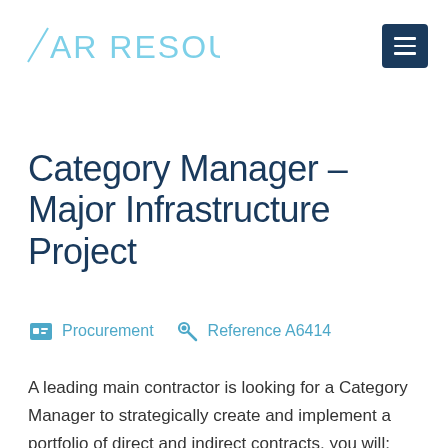[Figure (logo): AR Resourcing logo in light blue with diagonal slash before AR text]
Category Manager – Major Infrastructure Project
Procurement   Reference A6414
A leading main contractor is looking for a Category Manager to strategically create and implement a portfolio of direct and indirect contracts, you will: